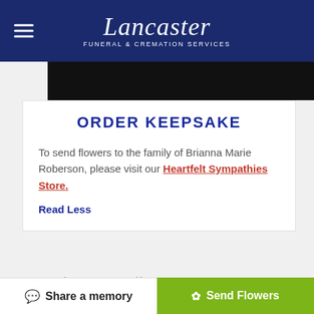Lancaster Funeral & Cremation Services
ORDER KEEPSAKE
To send flowers to the family of Brianna Marie Roberson, please visit our Heartfelt Sympathies Store.
Read Less
Service Details
Share a memory | Send Flowers